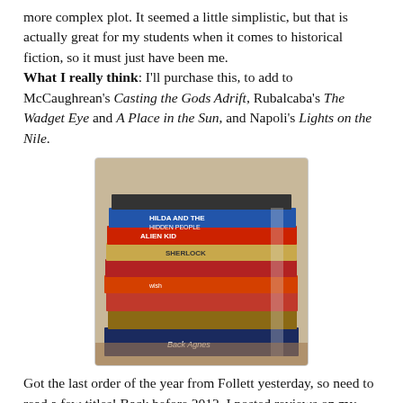more complex plot. It seemed a little simplistic, but that is actually great for my students when it comes to historical fiction, so it must just have been me. What I really think: I'll purchase this, to add to McCaughrean's Casting the Gods Adrift, Rubalcaba's The Wadget Eye and A Place in the Sun, and Napoli's Lights on the Nile.
[Figure (photo): A stack of books photographed from the side, showing their spines. Visible titles include 'Hilda and the Hidden People', 'Alien Kid', 'Sherlock', 'Back Agnes', and others. The books are stacked on top of each other in a pile.]
Got the last order of the year from Follett yesterday, so need to read a few titles! Back before 2012, I posted reviews on my blog every morning for the titles I read the night before--not sure how I did that. Have a couple in this pile that I need